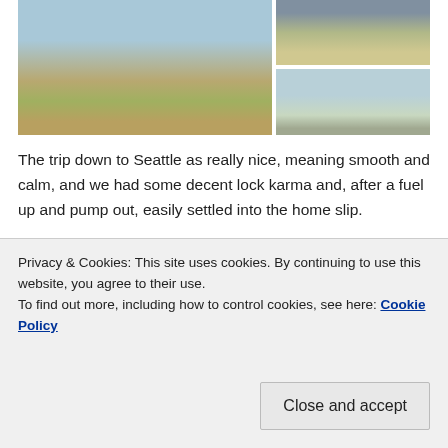[Figure (photo): Harbor scene with sailboats moored at a dock, low tide with exposed mudflats and green algae, with a smaller photo of a red building in top right and a wider water/shore scene below right]
The trip down to Seattle as really nice, meaning smooth and calm, and we had some decent lock karma and, after a fuel up and pump out, easily settled into the home slip.
[Figure (photo): Two people taking a selfie at a marina/lock with boats and cranes in background, blue sky]
[Figure (photo): Two people smiling on a boat deck at a marina, blue sky]
Privacy & Cookies: This site uses cookies. By continuing to use this website, you agree to their use.
To find out more, including how to control cookies, see here: Cookie Policy
Close and accept